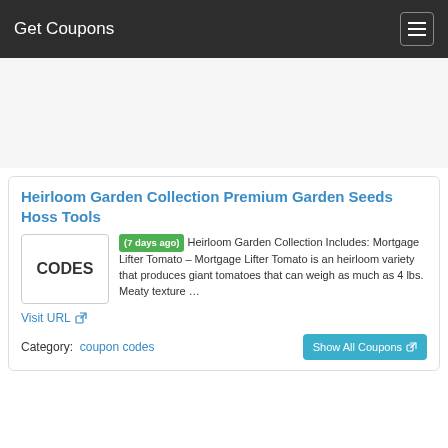Get Coupons
[Figure (other): Advertisement / blank ad placeholder area]
Heirloom Garden Collection Premium Garden Seeds Hoss Tools
[Figure (other): CODES placeholder box]
(7 days ago) Heirloom Garden Collection Includes: Mortgage Lifter Tomato – Mortgage Lifter Tomato is an heirloom variety that produces giant tomatoes that can weigh as much as 4 lbs. Meaty texture …
Visit URL
Category:  coupon codes
Show All Coupons